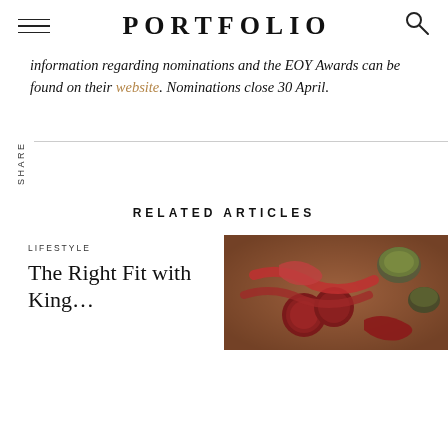PORTFOLIO
information regarding nominations and the EOY Awards can be found on their website. Nominations close 30 April.
RELATED ARTICLES
LIFESTYLE
The Right Fit with King…
[Figure (photo): Charcuterie/meat platter with salami, cured meats, and small bowls of condiments on a wooden board]